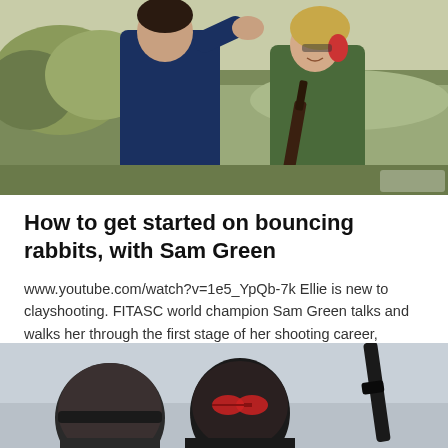[Figure (photo): Two people outdoors in a field setting. A man in a dark blue jacket gestures with his hand raised, while a woman in an olive/green jacket holds a shotgun and smiles. Both appear to be at a clay shooting lesson.]
How to get started on bouncing rabbits, with Sam Green
www.youtube.com/watch?v=1e5_YpQb-7k Ellie is new to clayshooting. FITASC world champion Sam Green talks and walks her through the first stage of her shooting career, starting with
[Figure (photo): Two people, partially visible from shoulders up, against a light grey/sky background. One person on the left wears a dark hat, the center person wears red-tinted sunglasses. A gun barrel is visible on the right side.]